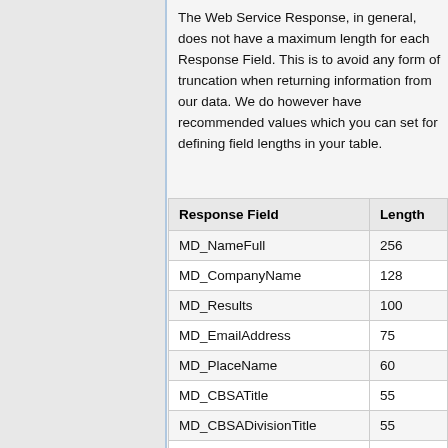The Web Service Response, in general, does not have a maximum length for each Response Field. This is to avoid any form of truncation when returning information from our data. We do however have recommended values which you can set for defining field lengths in your table.
| Response Field | Length |
| --- | --- |
| MD_NameFull | 256 |
| MD_CompanyName | 128 |
| MD_Results | 100 |
| MD_EmailAddress | 75 |
| MD_PlaceName | 60 |
| MD_CBSATitle | 55 |
| MD_CBSADivisionTitle | 55 |
| MD_AddressExtras | 50 |